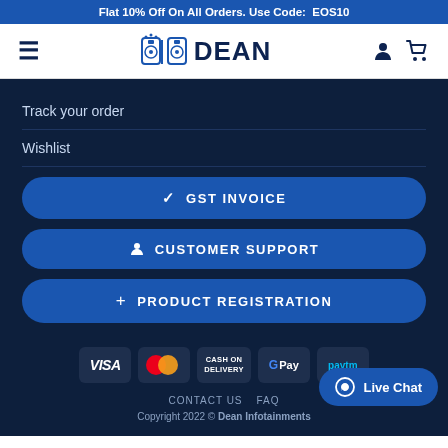Flat 10% Off On All Orders. Use Code: EOS10
[Figure (logo): Dean Infotainments logo with speaker icons and DEAN text]
Track your order
Wishlist
✓ GST INVOICE
CUSTOMER SUPPORT
+ PRODUCT REGISTRATION
[Figure (infographic): Payment method badges: VISA, MasterCard, CASH ON DELIVERY, G Pay, Paytm]
CONTACT US   FAQ
Copyright 2022 © Dean Infotainments